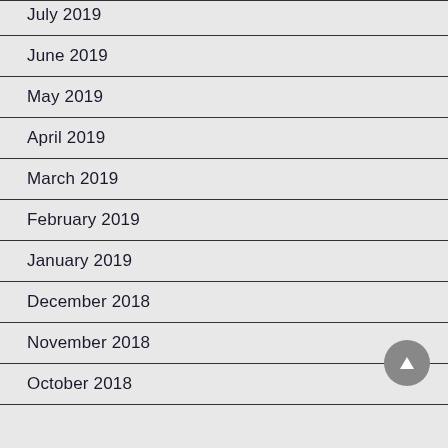July 2019
June 2019
May 2019
April 2019
March 2019
February 2019
January 2019
December 2018
November 2018
October 2018